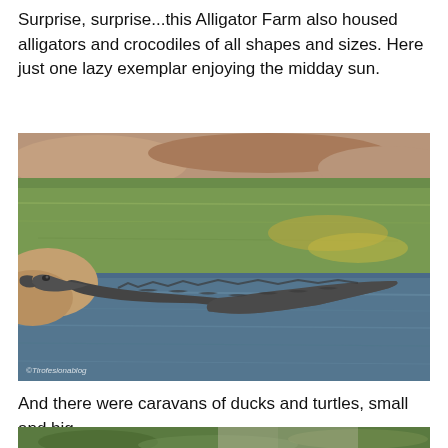Surprise, surprise...this Alligator Farm also housed alligators and crocodiles of all shapes and sizes. Here just one lazy exemplar enjoying the midday sun.
[Figure (photo): A crocodile or alligator lying on the edge of a pond with greenish water, basking in the sun. The water reflects the surroundings. A watermark reads ©Tirofesionablog.]
And there were caravans of ducks and turtles, small and big.
[Figure (photo): Bottom portion of a second photo showing green foliage and what appears to be an animal, partially visible.]